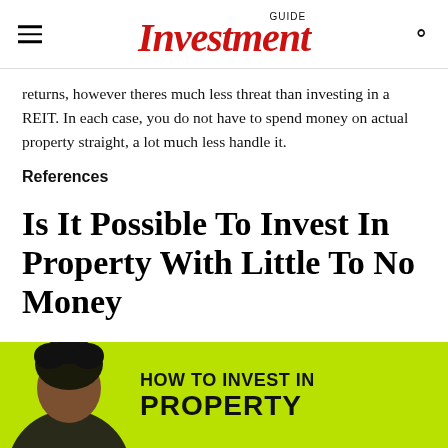GUIDE Investment
returns, however theres much less threat than investing in a REIT. In each case, you do not have to spend money on actual property straight, a lot much less handle it.
References
Is It Possible To Invest In Property With Little To No Money
[Figure (photo): Promotional image with green background showing a person and text 'HOW TO INVEST IN PROPERTY']